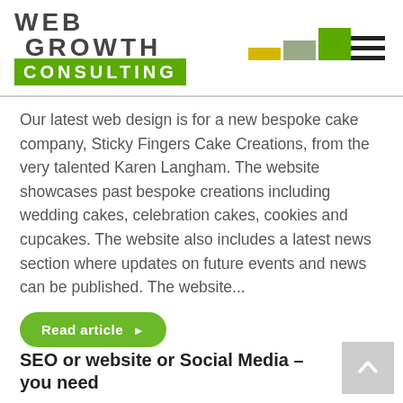[Figure (logo): Web Growth Consulting logo with colored block shapes and green banner]
Our latest web design is for a new bespoke cake company, Sticky Fingers Cake Creations, from the very talented Karen Langham. The website showcases past bespoke creations including wedding cakes, celebration cakes, cookies and cupcakes. The website also includes a latest news section where updates on future events and news can be published. The website...
Read article ▶
SEO or website or Social Media – you need